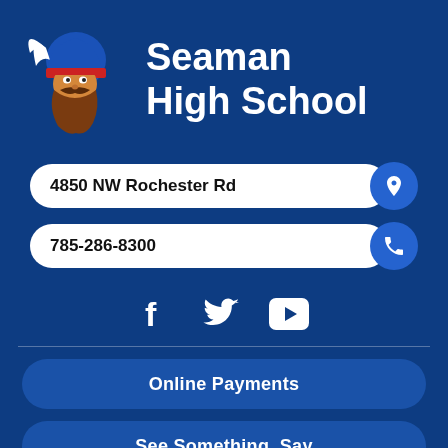[Figure (logo): Seaman High School Viking mascot logo - a viking head with horned helmet and brown beard]
Seaman High School
4850 NW Rochester Rd
785-286-8300
[Figure (infographic): Social media icons: Facebook (f), Twitter (bird), YouTube (play button triangle)]
Online Payments
See Something, Say